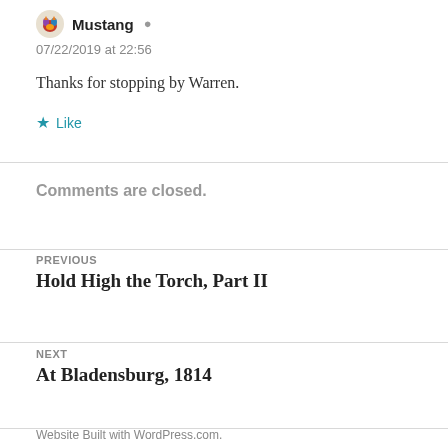Mustang
07/22/2019 at 22:56
Thanks for stopping by Warren.
Like
Comments are closed.
PREVIOUS
Hold High the Torch, Part II
NEXT
At Bladensburg, 1814
Website Built with WordPress.com.